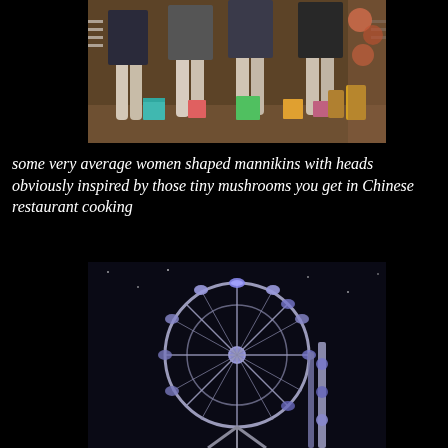[Figure (photo): A store window display showing female mannequins wearing short dresses, with gift boxes and shopping bags visible in the background.]
some very average women shaped mannikins with heads obviously inspired by those tiny mushrooms you get in Chinese restaurant cooking
[Figure (photo): A Ferris wheel photographed at night, illuminated with blue and white lights against a dark sky.]